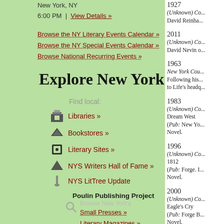New York, NY
6:00 PM  |  View Details »
Browse the NY Literary Events Calendar »
Browse the NY Special Events Calendar »
Browse National Recurring Events »
Explore New York
Find local:
Libraries »
Bookstores »
Literary Sites »
NYS Writers Hall of Fame »
NYS LitTree Update
Poulin Publishing Project
Browse New York's
Small Presses »
Literary Magazines »
1927  (Unknown) Co...
David Reinha...
2011  (Unknown) Co...
David Nevin o...
1963  New York Cou...
Following his...
to Life's headq...
1983  (Unknown) Co...
Dream West
(Pub: New Yo...
Novel.
1996  (Unknown) Co...
1812
(Pub: Forge. I...
Novel.
2000  (Unknown) Co...
Eagle's Cry
(Pub: Forge B...
Novel.
2001  (Unknown) Co...
Treason